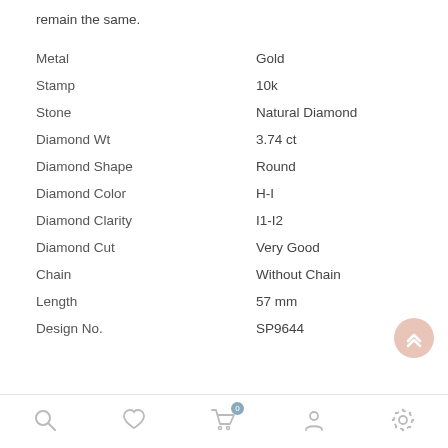remain the same.
| Property | Value |
| --- | --- |
| Metal | Gold |
| Stamp | 10k |
| Stone | Natural Diamond |
| Diamond Wt | 3.74 ct |
| Diamond Shape | Round |
| Diamond Color | H-I |
| Diamond Clarity | I1-I2 |
| Diamond Cut | Very Good |
| Chain | Without Chain |
| Length | 57 mm |
| Design No. | SP9644 |
[Figure (other): Scroll to top button (chevron up arrow icon) in pinkish-beige circle]
Search | Wishlist | Cart (0) | Account | Settings